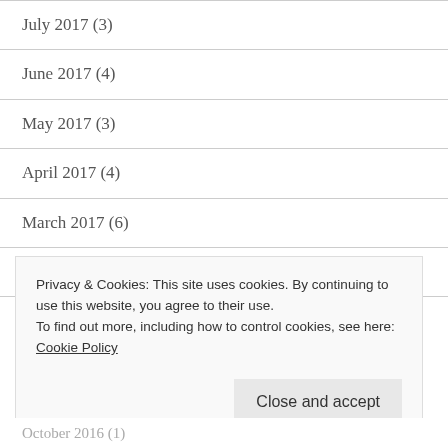July 2017 (3)
June 2017 (4)
May 2017 (3)
April 2017 (4)
March 2017 (6)
February 2017 (9)
January 2017 (6)
Privacy & Cookies: This site uses cookies. By continuing to use this website, you agree to their use. To find out more, including how to control cookies, see here: Cookie Policy
October 2016 (1)